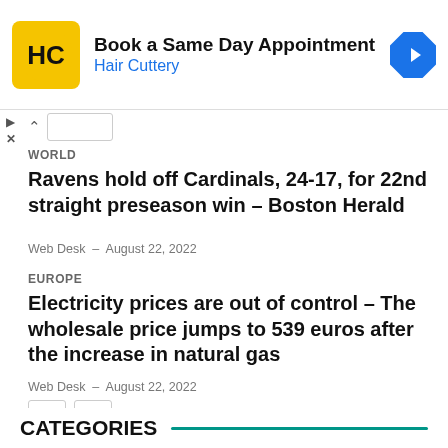[Figure (logo): Hair Cuttery ad banner with HC logo, text 'Book a Same Day Appointment / Hair Cuttery', and a blue navigation arrow icon]
WORLD
Ravens hold off Cardinals, 24-17, for 22nd straight preseason win – Boston Herald
Web Desk – August 22, 2022
EUROPE
Electricity prices are out of control – The wholesale price jumps to 539 euros after the increase in natural gas
Web Desk – August 22, 2022
CATEGORIES